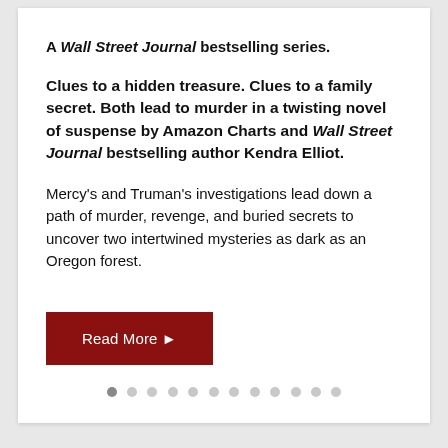A Wall Street Journal bestselling series.
Clues to a hidden treasure. Clues to a family secret. Both lead to murder in a twisting novel of suspense by Amazon Charts and Wall Street Journal bestselling author Kendra Elliot.
Mercy's and Truman's investigations lead down a path of murder, revenge, and buried secrets to uncover two intertwined mysteries as dark as an Oregon forest.
Read More ▶